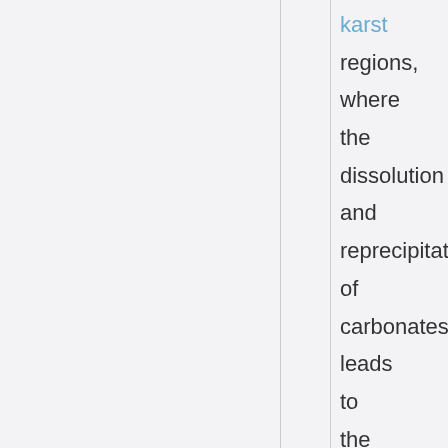karst regions, where the dissolution and reprecipitation of carbonates leads to the formation of caves,